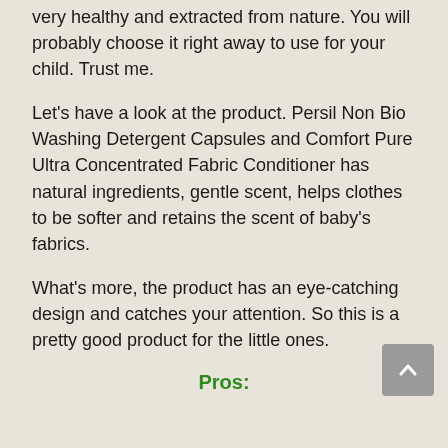very healthy and extracted from nature. You will probably choose it right away to use for your child. Trust me.
Let's have a look at the product. Persil Non Bio Washing Detergent Capsules and Comfort Pure Ultra Concentrated Fabric Conditioner has natural ingredients, gentle scent, helps clothes to be softer and retains the scent of baby's fabrics.
What's more, the product has an eye-catching design and catches your attention. So this is a pretty good product for the little ones.
Pros: